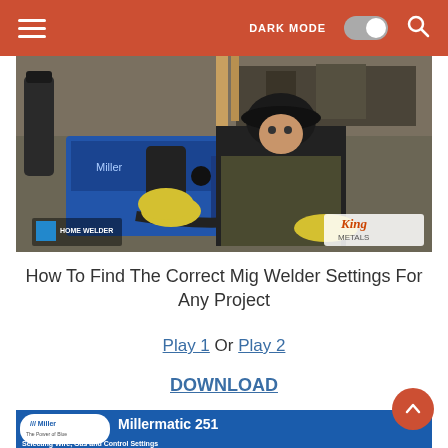Navigation bar with hamburger menu, DARK MODE toggle, and search icon
[Figure (photo): A person wearing yellow welding gloves and a dark apron leaning over a blue Miller welding machine in a workshop. Logos for 'Home Welder' and 'King Metals' visible in lower corners.]
How To Find The Correct Mig Welder Settings For Any Project
Play 1 Or Play 2
DOWNLOAD
[Figure (photo): Bottom strip showing a Miller Millermatic 251 welding machine label with text 'Selecting Wire, Gas and Control Settings']